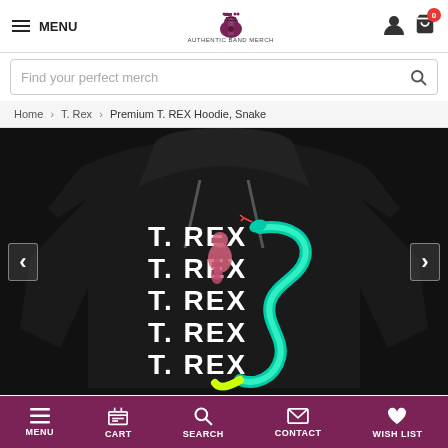MENU | Authentic Band Merch logo | user icon | cart (0)
Find your perfect merch
Home > T. Rex > Premium T. REX Hoodie, Snake
[Figure (photo): Black hoodie displayed from the back showing 'T. REX' repeated 5 times vertically in large bold white text, with a colorful snake/dragon graphic (teal, green, yellow) and a pink illustrated figure of a guitarist overlaid on the text. Left and right navigation arrows visible on sides.]
MENU | CART | SEARCH | CONTACT | WISH LIST